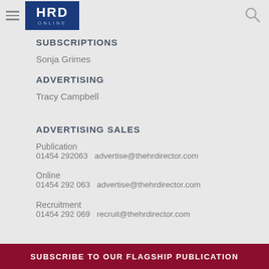HRD ONLINE
SUBSCRIPTIONS
Sonja Grimes
ADVERTISING
Tracy Campbell
ADVERTISING SALES
Publication
01454 292063   advertise@thehrdirector.com
Online
01454 292 063   advertise@thehrdirector.com
Recruitment
01454 292 069   recruit@thehrdirector.com
SUBSCRIBE TO OUR FLAGSHIP PUBLICATION